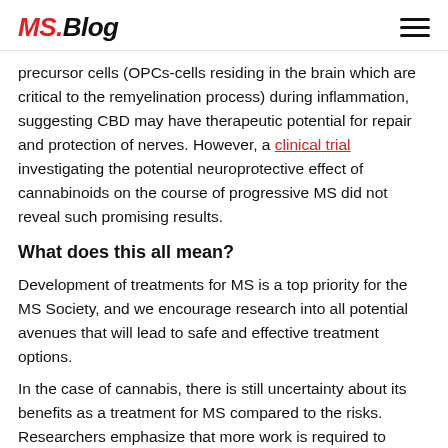MS.Blog
precursor cells (OPCs-cells residing in the brain which are critical to the remyelination process) during inflammation, suggesting CBD may have therapeutic potential for repair and protection of nerves. However, a clinical trial investigating the potential neuroprotective effect of cannabinoids on the course of progressive MS did not reveal such promising results.
What does this all mean?
Development of treatments for MS is a top priority for the MS Society, and we encourage research into all potential avenues that will lead to safe and effective treatment options.
In the case of cannabis, there is still uncertainty about its benefits as a treatment for MS compared to the risks. Researchers emphasize that more work is required to